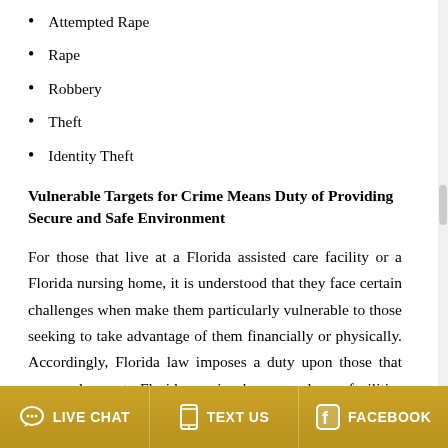Attempted Rape
Rape
Robbery
Theft
Identity Theft
Vulnerable Targets for Crime Means Duty of Providing Secure and Safe Environment
For those that live at a Florida assisted care facility or a Florida nursing home, it is understood that they face certain challenges when make them particularly vulnerable to those seeking to take advantage of them financially or physically. Accordingly, Florida law imposes a duty upon those that own and operate Florida nursing homes and care facilities to protect and secure the residents' safety.
LIVE CHAT   TEXT US   FACEBOOK